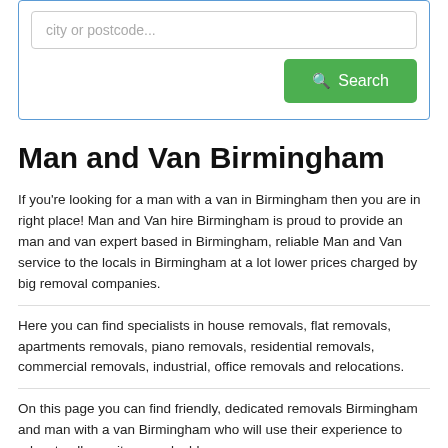city or postcode...
Man and Van Birmingham
If you're looking for a man with a van in Birmingham then you are in right place! Man and Van hire Birmingham is proud to provide an man and van expert based in Birmingham, reliable Man and Van service to the locals in Birmingham at a lot lower prices charged by big removal companies.
Here you can find specialists in house removals, flat removals, apartments removals, piano removals, residential removals, commercial removals, industrial, office removals and relocations.
On this page you can find friendly, dedicated removals Birmingham and man with a van Birmingham who will use their experience to relocate all your items, valuable...